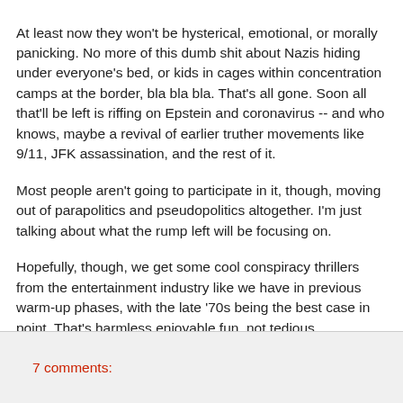At least now they won't be hysterical, emotional, or morally panicking. No more of this dumb shit about Nazis hiding under everyone's bed, or kids in cages within concentration camps at the border, bla bla bla. That's all gone. Soon all that'll be left is riffing on Epstein and coronavirus -- and who knows, maybe a revival of earlier truther movements like 9/11, JFK assassination, and the rest of it.
Most people aren't going to participate in it, though, moving out of parapolitics and pseudopolitics altogether. I'm just talking about what the rump left will be focusing on.
Hopefully, though, we get some cool conspiracy thrillers from the entertainment industry like we have in previous warm-up phases, with the late '70s being the best case in point. That's harmless enjoyable fun, not tedious para/pseudo-political "engagement" (obsession).
7 comments: